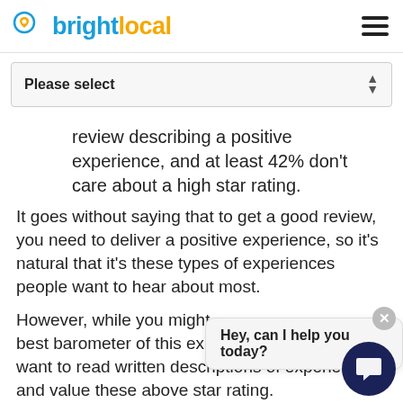brightlocal
Please select
review describing a positive experience, and at least 42% don't care about a high star rating.
It goes without saying that to get a good review, you need to deliver a positive experience, so it's natural that it's these types of experiences people want to hear about most.
However, while you might [best barometer of this ex...] want to read written descriptions of experiences, and value these above star rating.
Anyone trying to decide whether to start respo... to reviews should pay attention to the fact that 55%